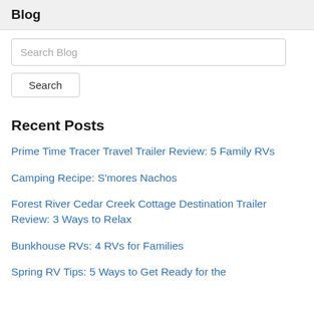Blog
Search Blog
Search
Recent Posts
Prime Time Tracer Travel Trailer Review: 5 Family RVs
Camping Recipe: S'mores Nachos
Forest River Cedar Creek Cottage Destination Trailer Review: 3 Ways to Relax
Bunkhouse RVs: 4 RVs for Families
Spring RV Tips: 5 Ways to Get Ready for the